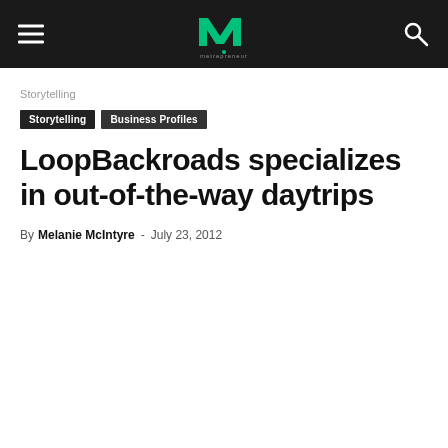metrepreneur — navigation bar with hamburger menu, logo, and search icon
Storytelling
Storytelling  Business Profiles
LoopBackroads specializes in out-of-the-way daytrips
By Melanie McIntyre - July 23, 2012